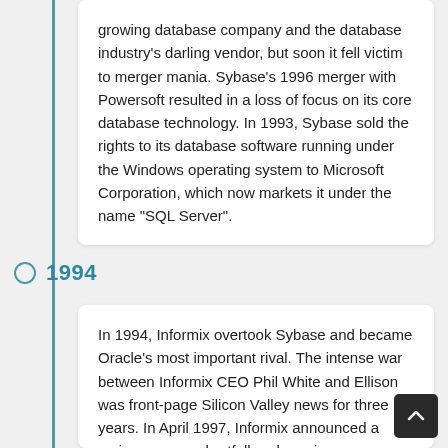growing database company and the database industry's darling vendor, but soon it fell victim to merger mania. Sybase's 1996 merger with Powersoft resulted in a loss of focus on its core database technology. In 1993, Sybase sold the rights to its database software running under the Windows operating system to Microsoft Corporation, which now markets it under the name "SQL Server".
1994
In 1994, Informix overtook Sybase and became Oracle's most important rival. The intense war between Informix CEO Phil White and Ellison was front-page Silicon Valley news for three years. In April 1997, Informix announced a major revenue shortfall and earnings restatements. Phil White eventually landed in jail, and IBM absorbed Informix in 2001. Also in 1997, Ellison was made a director of Apple Computer after Steve Jobs returned to the